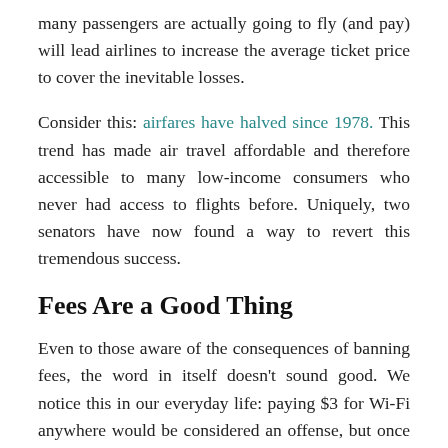many passengers are actually going to fly (and pay) will lead airlines to increase the average ticket price to cover the inevitable losses.
Consider this: airfares have halved since 1978. This trend has made air travel affordable and therefore accessible to many low-income consumers who never had access to flights before. Uniquely, two senators have now found a way to revert this tremendous success.
Fees Are a Good Thing
Even to those aware of the consequences of banning fees, the word in itself doesn't sound good. We notice this in our everyday life: paying $3 for Wi-Fi anywhere would be considered an offense, but once generalized in the price of the goods and services, we don't seem to mind. We have to realize